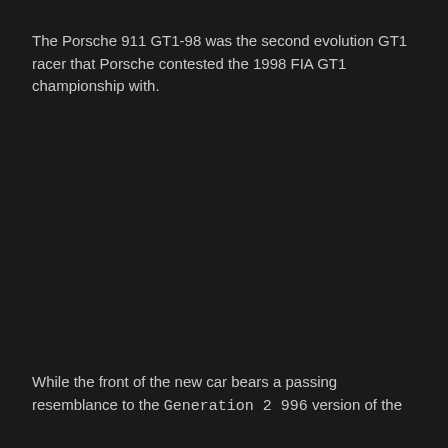The Porsche 911 GT1-98 was the second evolution GT1 racer that Porsche contested the 1998 FIA GT1 championship with.
While the front of the new car bears a passing resemblance to the Generation 2 996 version of the